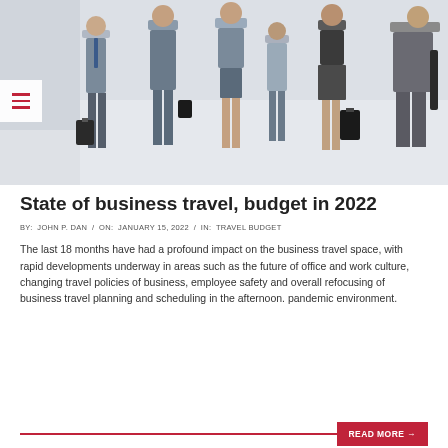[Figure (photo): Group of business travelers standing in an airport or office lobby, carrying luggage and bags, dressed in business attire.]
State of business travel, budget in 2022
BY: JOHN P. DAN / ON: JANUARY 15, 2022 / IN: TRAVEL BUDGET
The last 18 months have had a profound impact on the business travel space, with rapid developments underway in areas such as the future of office and work culture, changing travel policies of business, employee safety and overall refocusing of business travel planning and scheduling in the afternoon. pandemic environment.
READ MORE →